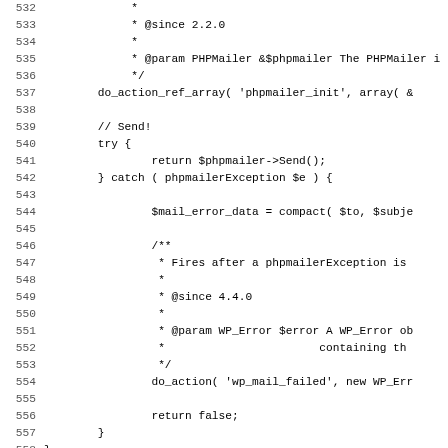[Figure (screenshot): Source code listing showing PHP/WordPress code, lines 532-563, including PHPMailer send logic with try/catch block, error handling, and wp_authenticate function check.]